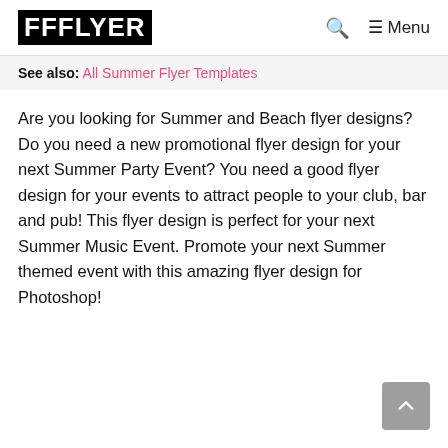FFFLYER  🔍  ☰ Menu
See also: All Summer Flyer Templates
Are you looking for Summer and Beach flyer designs? Do you need a new promotional flyer design for your next Summer Party Event? You need a good flyer design for your events to attract people to your club, bar and pub! This flyer design is perfect for your next Summer Music Event. Promote your next Summer themed event with this amazing flyer design for Photoshop!